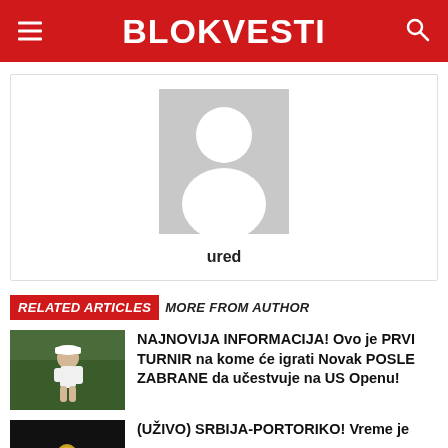BLOKVESTI
[Figure (illustration): Generic user avatar placeholder — grey rectangle with white silhouette of a person (circle head, rounded body)]
ured
RELATED ARTICLES MORE FROM AUTHOR
[Figure (photo): Tennis player wearing white cap, standing on a green court, outdoor setting]
NAJNOVIJA INFORMACIJA! Ovo je PRVI TURNIR na kome će igrati Novak POSLE ZABRANE da učestvuje na US Openu!
[Figure (photo): Dark image with a tennis ball visible, likely a night match scene]
(UŽIVO) SRBIJA-PORTORIKO! Vreme je